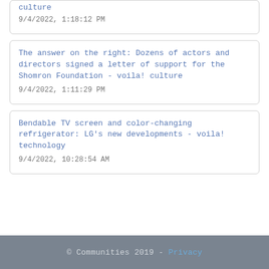culture
9/4/2022, 1:18:12 PM
The answer on the right: Dozens of actors and directors signed a letter of support for the Shomron Foundation - voila! culture
9/4/2022, 1:11:29 PM
Bendable TV screen and color-changing refrigerator: LG's new developments - voila! technology
9/4/2022, 10:28:54 AM
© Communities 2019 - Privacy